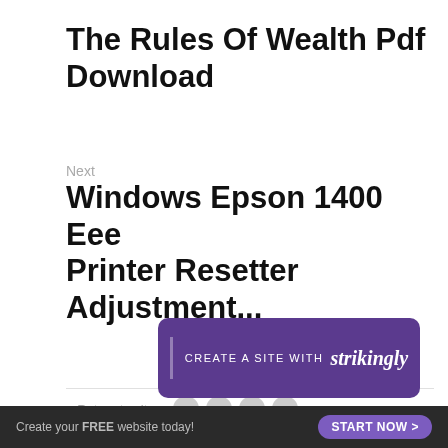The Rules Of Wealth Pdf Download
Next
Windows Epson 1400 Eee Printer Resetter Adjustment...
< Return to site
Powered by Strikingly
[Figure (other): Purple banner with text CREATE A SITE WITH strikingly]
This website is built with Strikingly.
Create your FREE website today!
START NOW >